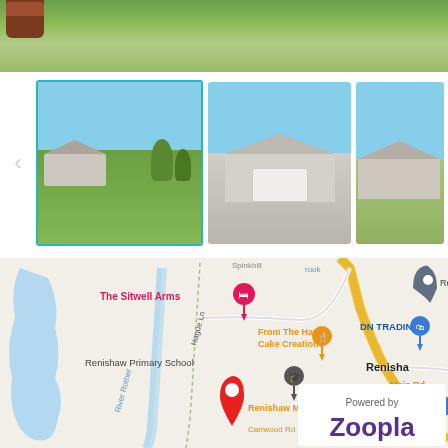[Figure (photo): Top banner showing green grass and garden scene with a terracotta pot]
[Figure (photo): Photo gallery row with three property thumbnails. First (selected, teal border): garden view with house and trees. Second: bungalow with double garage on driveway. Third: side view of bungalow.]
[Figure (map): Google Maps showing Renishaw area with landmarks: The Sitwell Arms, From The Hart Cake Creations, Renishaw Primary School, DN TRADING, Renishaw Miners Welfare, Hague Ln, Main Rd, Carrwood Rd, River Rother. Red location pin shown on Carrwood Rd. Powered by Zoopla badge in bottom right.]